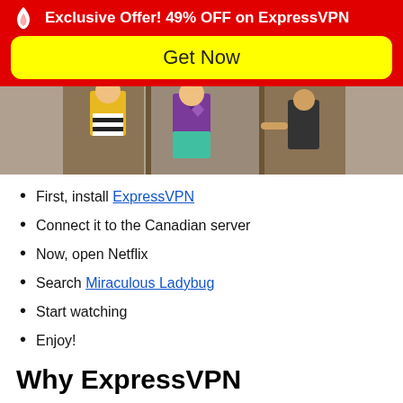Exclusive Offer! 49% OFF on ExpressVPN
Get Now
[Figure (illustration): Animated scene showing cartoon characters standing near lockers]
First, install ExpressVPN
Connect it to the Canadian server
Now, open Netflix
Search Miraculous Ladybug
Start watching
Enjoy!
Why ExpressVPN